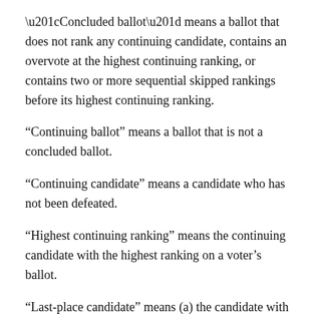“Concluded ballot” means a ballot that does not rank any continuing candidate, contains an overvote at the highest continuing ranking, or contains two or more sequential skipped rankings before its highest continuing ranking.
“Continuing ballot” means a ballot that is not a concluded ballot.
“Continuing candidate” means a candidate who has not been defeated.
“Highest continuing ranking” means the continuing candidate with the highest ranking on a voter’s ballot.
“Last-place candidate” means (a) the candidate with the lowest active preference total in a round of the ranked-choice voting tabulation,